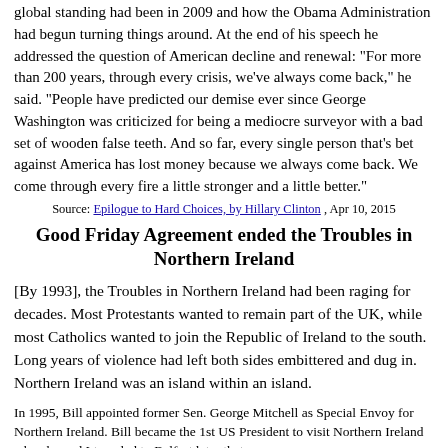global standing had been in 2009 and how the Obama Administration had begun turning things around. At the end of his speech he addressed the question of American decline and renewal: "For more than 200 years, through every crisis, we've always come back," he said. "People have predicted our demise ever since George Washington was criticized for being a mediocre surveyor with a bad set of wooden false teeth. And so far, every single person that's bet against America has lost money because we always come back. We come through every fire a little stronger and a little better."
Source: Epilogue to Hard Choices, by Hillary Clinton , Apr 10, 2015
Good Friday Agreement ended the Troubles in Northern Ireland
[By 1993], the Troubles in Northern Ireland had been raging for decades. Most Protestants wanted to remain part of the UK, while most Catholics wanted to join the Republic of Ireland to the south. Long years of violence had left both sides embittered and dug in. Northern Ireland was an island within an island.
In 1995, Bill appointed former Sen. George Mitchell as Special Envoy for Northern Ireland. Bill became the 1st US President to visit Northern Ireland when he and I traveled to Belfast later that year.
The Good Friday Agreement, which was signed that year and put Northern Ireland on the path toward peace, was a triumph of diplomacy, especially for Bill and